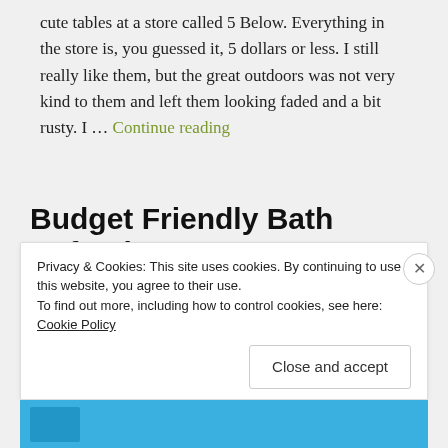cute tables at a store called 5 Below. Everything in the store is, you guessed it, 5 dollars or less. I still really like them, but the great outdoors was not very kind to them and left them looking faded and a bit rusty. I … Continue reading
Budget Friendly Bath Refresh
APRIL 23, 2019 / LEAVE A COMMENT
Privacy & Cookies: This site uses cookies. By continuing to use this website, you agree to their use.
To find out more, including how to control cookies, see here: Cookie Policy
Close and accept